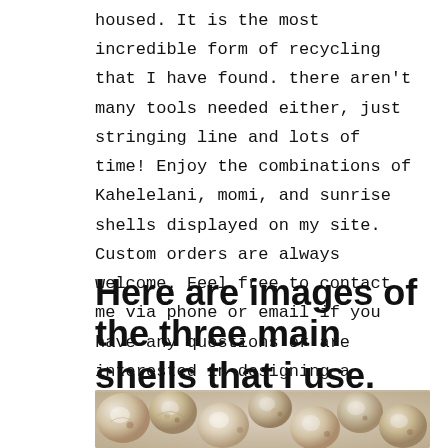housed.  It is the most incredible form of recycling that I have found.  there aren't many tools needed either, just stringing line and lots of time!  Enjoy the combinations of Kahelelani, momi, and sunrise shells displayed on my site.  Custom orders are always welcome.  Feel free to contact me via phone or email if you have any questions or are interested in designing a piece!  Aloha~  Rob Arita
Here are images of the three main shells that i use.
[Figure (photo): Close-up photograph of small rounded shells, showing Kahelelani, momi, and/or sunrise shells with pearlescent and patterned surfaces in cream, tan, and brown tones.]